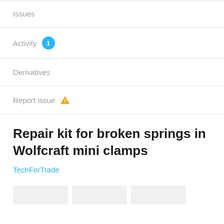Issues
Activity 1
Derivatives
Report issue ⚠
Repair kit for broken springs in Wolfcraft mini clamps
TechForTrade